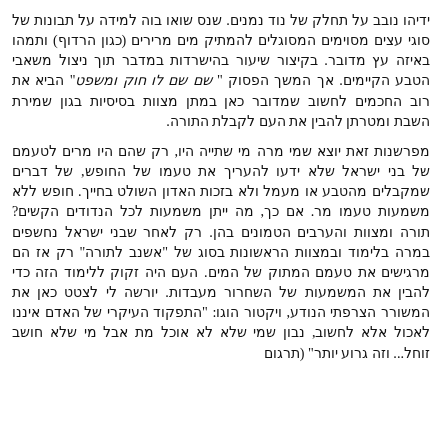ידיהו נובב על תחלק של נוד נמנים. שנס שואו בוה למידה על תבונות של סוגי עצים מסוימים המסוגלים להמתיק מים מרירים (כגון הרדוף) ותמהו באיזה עץ מדובר. בקיצור שיעור בהישרדות במדבר תוך ניצול משאבי הטבע הקיימים. אך המשך הפסוק " שם שם לו חוק ומשפט" הביא את רוב החכמים לחשוב שמדובר כאן במתן מצוות בסיסיות בגון שמירת השבת ומטרתן להבין את העם לקבלת התורה.
מפרשנות זאת יוצא שמי מרה מי שתייה היו, רק שהם היו מרים לטעמם של בני ישראל שלא ידעו להעריך את טעמו של החופש, של דברים שמקבלים מהטבע או מעמל ולא בזכות האדון השולט בחייך. חופש ללא משמעות טעמו מר. אם כך, מה ייתן משמעות לכל הנדודים הקשים? תורה ומצוות והערבים הטמונים בהן. רק לאחר שבני ישראל נחשפים במרה בלימוד ובמצוות הראשונות בסוג של "אשנב לתורה" רק אז הם מרגישים את טעמם המתוק של המים. העם היה זקוק ללימוד הזה כדי להבין את המשמעות של השחרור מעבדות. יורשה לי לצטט כאן את המשורר הצרפתי הנודע, ויקטור הוגו: "התפקוד העיקרי של האדם איננו לאכול אלא לחשוב, נבון שמי שלא לא אוכל מת אבל מי שלא חושב זוחל... וזה גרוע יותר" (תרגום